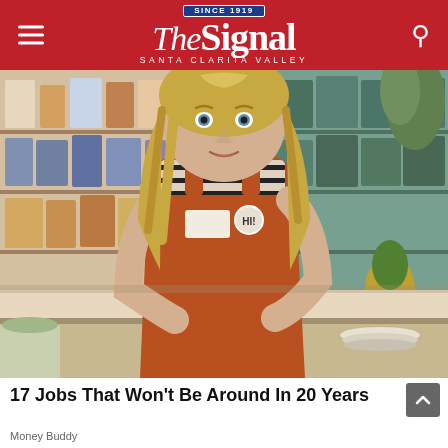The Signal — Santa Clarita Valley (Since 1919)
[Figure (photo): A young blonde woman wearing an orange apron and striped shirt stands behind a checkout counter in a grocery store. She has a name tag and a round button on her apron. Shelves stocked with food products are visible in the background.]
17 Jobs That Won't Be Around In 20 Years
Money Buddy